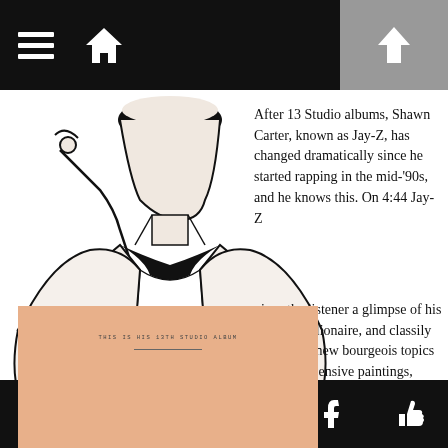[Figure (illustration): Black and white line drawing illustration of a man in a tuxedo with a large black bow tie, adjusting his collar]
[Figure (illustration): Album cover with beige/peach background and small text reading 'THIS IS HIS 13TH STUDIO ALBUM' with a horizontal line]
After 13 Studio albums, Shawn Carter, known as Jay-Z, has changed dramatically since he started rapping in the mid-’90s, and he knows this. On 4:44 Jay-Z gives the listener a glimpse of his life as a billionaire, and classily raps about new bourgeois topics such as expensive paintings, investing and credit.